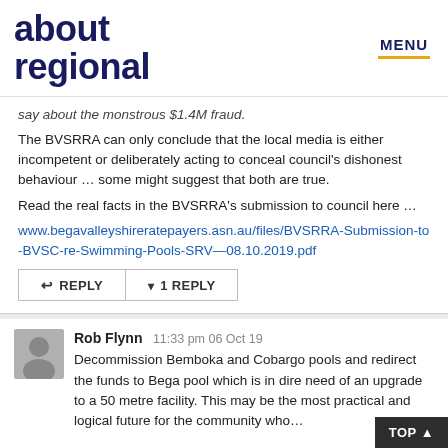about regional | MENU
say about the monstrous $1.4M fraud. The BVSRRA can only conclude that the local media is either incompetent or deliberately acting to conceal council's dishonest behaviour … some might suggest that both are true. Read the real facts in the BVSRRA's submission to council here … www.begavalleyshireratepayers.asn.au/files/BVSRRA-Submission-to-BVSC-re-Swimming-Pools-SRV—08.10.2019.pdf
↩ REPLY  ▾ 1 REPLY
Rob Flynn  11:33 pm 06 Oct 19
Decommission Bemboka and Cobargo pools and redirect the funds to Bega pool which is in dire need of an upgrade to a 50 metre facility. This may be the most practical and logical future for the community who…